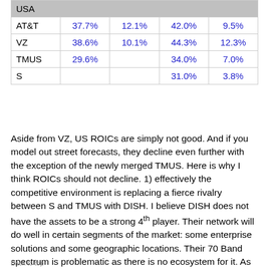| USA |  |  |  |  |
| --- | --- | --- | --- | --- |
| AT&T | 37.7% | 12.1% | 42.0% | 9.5% |
| VZ | 38.6% | 10.1% | 44.3% | 12.3% |
| TMUS | 29.6% |  | 34.0% | 7.0% |
| S |  |  | 31.0% | 3.8% |
Aside from VZ, US ROICs are simply not good. And if you model out street forecasts, they decline even further with the exception of the newly merged TMUS. Here is why I think ROICs should not decline. 1) effectively the competitive environment is replacing a fierce rivalry between S and TMUS with DISH. I believe DISH does not have the assets to be a strong 4th player. Their network will do well in certain segments of the market: some enterprise solutions and some geographic locations. Their 70 Band spectrum is problematic as there is no ecosystem for it. As a result, it will take time to build out their network and they rely on 2nd rate vendors. This band of spectrum does not propagate as well as 2.5Ghz midband spectrum which limits them in rural areas. Given their spectrum and Charlie
Back to top